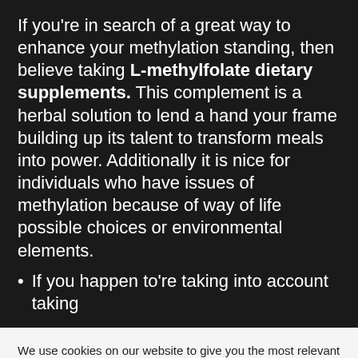If you're in search of a great way to enhance your methylation standing, then believe taking L-methylfolate dietary supplements. This complement is a herbal solution to lend a hand your frame building up its talent to transform meals into power. Additionally it is nice for individuals who have issues of methylation because of way of life possible choices or environmental elements.
If you happen to're taking into account taking
We use cookies on our website to give you the most relevant experience by remembering your preferences and repeat visits. By clicking "Accept All", you consent to the use of ALL the cookies. However, you may visit "Cookie Settings" to provide a controlled consent.